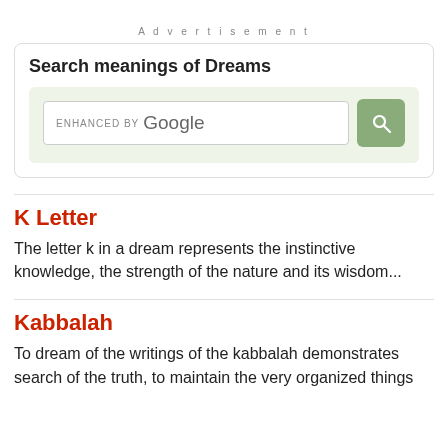Advertisement
[Figure (screenshot): Search meanings of Dreams widget with Google custom search bar on a light green background]
K Letter
The letter k in a dream represents the instinctive knowledge, the strength of the nature and its wisdom...
Kabbalah
To dream of the writings of the kabbalah demonstrates search of the truth, to maintain the very organized things